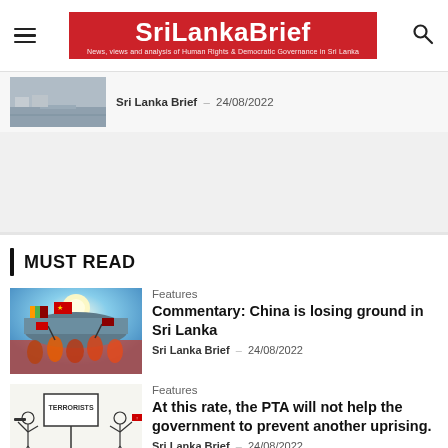SriLankaBrief — News, views and analysis of Human Rights & Democratic Governance in Sri Lanka
[Figure (photo): Partial article thumbnail showing an airport runway, partially cropped at top of page]
Sri Lanka Brief  –  24/08/2022
MUST READ
[Figure (photo): Protest scene with people waving Sri Lankan and Chinese flags in front of a large ship]
Features
Commentary: China is losing ground in Sri Lanka
Sri Lanka Brief  –  24/08/2022
[Figure (illustration): Cartoon illustration showing figures with a sign reading TERRORISTS]
Features
At this rate, the PTA will not help the government to prevent another uprising.
Sri Lanka Brief  –  24/08/2022